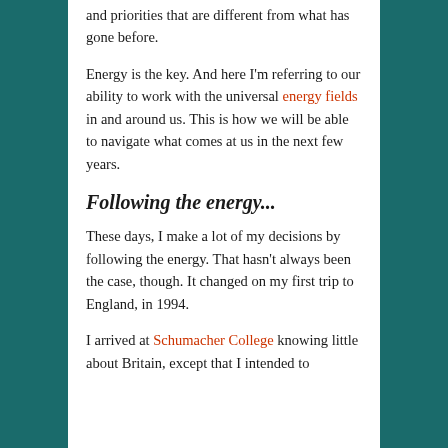and priorities that are different from what has gone before.
Energy is the key. And here I'm referring to our ability to work with the universal energy fields in and around us. This is how we will be able to navigate what comes at us in the next few years.
Following the energy...
These days, I make a lot of my decisions by following the energy. That hasn't always been the case, though. It changed on my first trip to England, in 1994.
I arrived at Schumacher College knowing little about Britain, except that I intended to